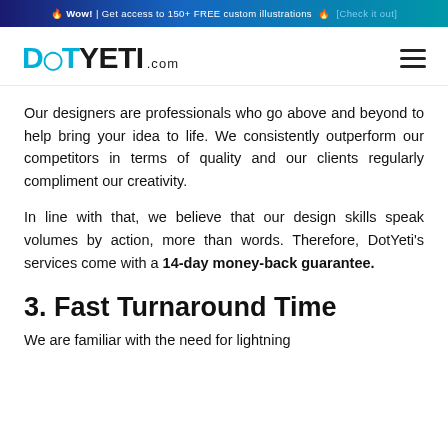🔥 Wow! | Get access to 150+ FREE custom illustrations 🔥 [Check it out]
[Figure (logo): DotYeti.com logo with cyan DOT prefix and dark YETI text, followed by .com in smaller text. Hamburger menu icon on the right.]
Our designers are professionals who go above and beyond to help bring your idea to life. We consistently outperform our competitors in terms of quality and our clients regularly compliment our creativity.
In line with that, we believe that our design skills speak volumes by action, more than words. Therefore, DotYeti's services come with a 14-day money-back guarantee.
3. Fast Turnaround Time
We are familiar with the need for lightning